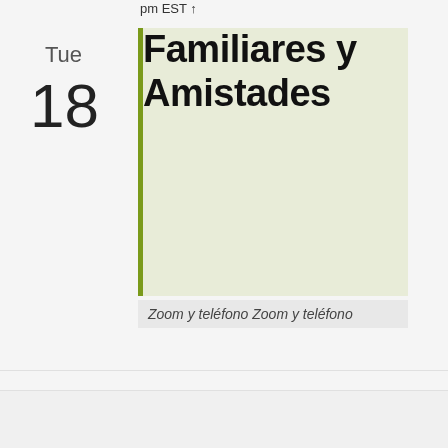pm EST ↑
Tue
18
Familiares y Amistades
Zoom y teléfono Zoom y teléfono